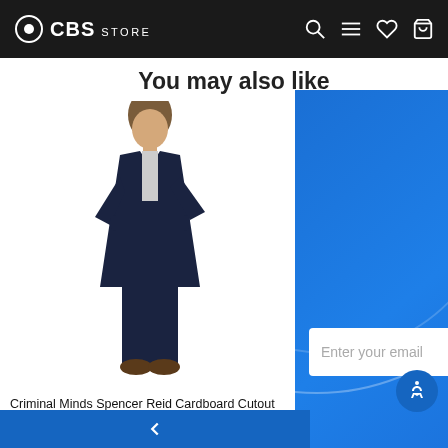CBS STORE
You may also like
[Figure (photo): Criminal Minds Spencer Reid cardboard cutout standee product photo]
Criminal Minds Spencer Reid Cardboard Cutout Standee
$44.95
[Figure (screenshot): Sign Up & Save newsletter popup overlay with blue gradient background. Text: Sign up for our newsletter and SAVE 15% on your next order! Email input field with SUBSCRIBE button.]